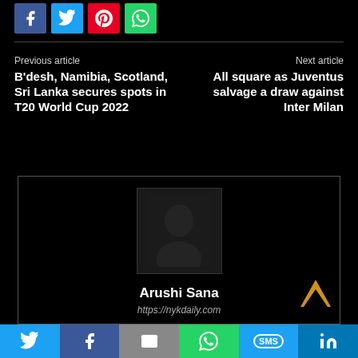[Figure (other): Social share buttons row: Facebook (blue), Twitter (cyan), Pinterest (red), WhatsApp (green)]
Previous article
Next article
B'desh, Namibia, Scotland, Sri Lanka secures spots in T20 World Cup 2022
All square as Juventus salvage a draw against Inter Milan
[Figure (photo): Dark author profile photo placeholder for Arushi Sana]
Arushi Sana
https://nykdaily.com
[Figure (other): Bottom share bar: Twitter, Facebook, Email, WhatsApp, SMS, LinkedIn]